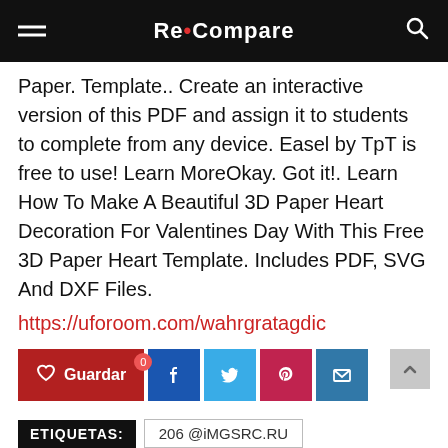Re•Compare
Paper. Template.. Create an interactive version of this PDF and assign it to students to complete from any device. Easel by TpT is free to use! Learn MoreOkay. Got it!. Learn How To Make A Beautiful 3D Paper Heart Decoration For Valentines Day With This Free 3D Paper Heart Template. Includes PDF, SVG And DXF Files.
https://uforoom.com/wahrgratagdic
[Figure (other): Social sharing buttons: Guardar (save/heart), Facebook, Twitter, Pinterest, Email, and a back-to-top arrow button]
ETIQUETAS: 206 @iMGSRC.RU
Nice boys previews NO NUDE EZ